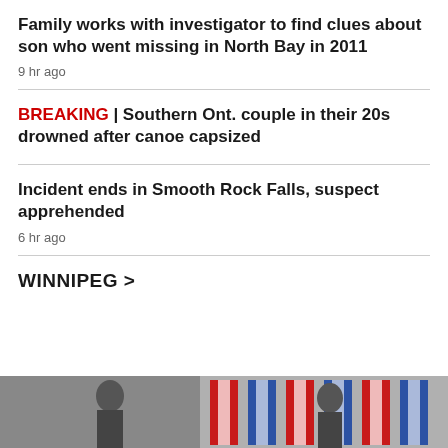Family works with investigator to find clues about son who went missing in North Bay in 2011
9 hr ago
BREAKING | Southern Ont. couple in their 20s drowned after canoe capsized
Incident ends in Smooth Rock Falls, suspect apprehended
6 hr ago
WINNIPEG >
[Figure (photo): Photo of people standing in front of Canadian and other flags]